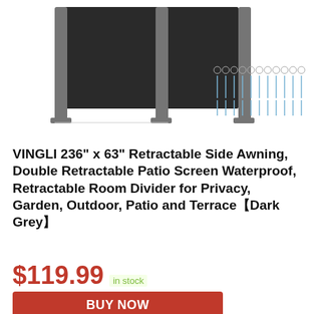[Figure (photo): Product photo of VINGLI retractable side awning/room divider in dark grey with metal posts, alongside hardware screws illustration]
VINGLI 236" x 63" Retractable Side Awning, Double Retractable Patio Screen Waterproof, Retractable Room Divider for Privacy, Garden, Outdoor, Patio and Terrace【Dark Grey】
$119.99  in stock
BUY NOW